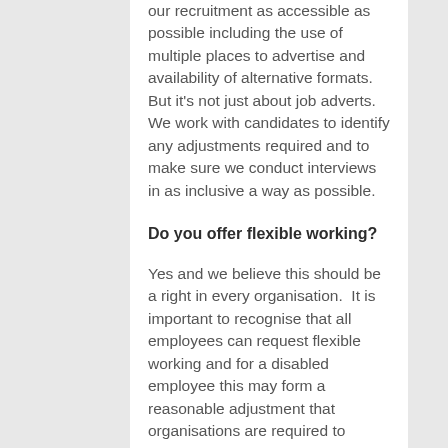our recruitment as accessible as possible including the use of multiple places to advertise and availability of alternative formats. But it's not just about job adverts. We work with candidates to identify any adjustments required and to make sure we conduct interviews in as inclusive a way as possible.
Do you offer flexible working?
Yes and we believe this should be a right in every organisation.  It is important to recognise that all employees can request flexible working and for a disabled employee this may form a reasonable adjustment that organisations are required to